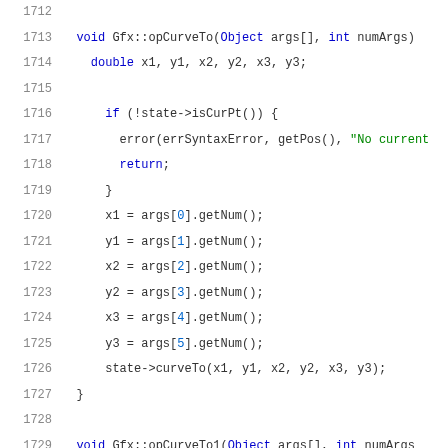Code listing lines 1712-1733, C++ source code for Gfx::opCurveTo and Gfx::opCurveTo1 functions